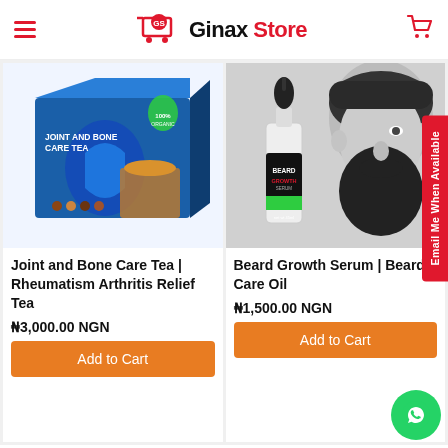Ginax Store
[Figure (illustration): Product image of Joint and Bone Care Tea box]
Joint and Bone Care Tea | Rheumatism Arthritis Relief Tea
₦3,000.00 NGN
Add to Cart
[Figure (illustration): Product image of Beard Growth Serum / Beard Care Oil with dropper bottle and man with beard]
Beard Growth Serum | Beard Care Oil
₦1,500.00 NGN
Add to Cart